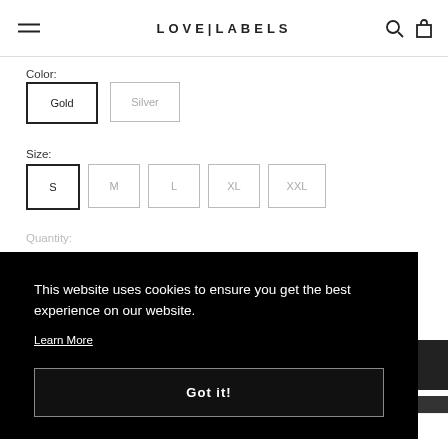LOVE|LABELS
Color:
Gold (selected)
Silver
Size:
S (selected)
M
L
XL
XXL
Quantity:
This website uses cookies to ensure you get the best experience on our website. Learn More
Got it!
ADD TO WISHLIST (5)